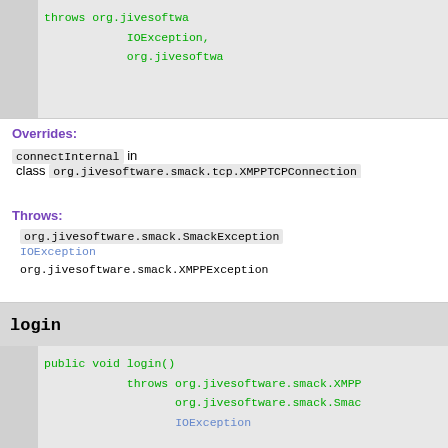[Figure (screenshot): Top partial code block showing throws org.jivesoftwa... IOException, org.jivesoftwa...]
Overrides:
connectInternal in class org.jivesoftware.smack.tcp.XMPPTCPConnection
Throws:
org.jivesoftware.smack.SmackException
IOException
org.jivesoftware.smack.XMPPException
login
[Figure (screenshot): Code block: public void login() throws org.jivesoftware.smack.XMPP... org.jivesoftware.smack.Smac... IOException]
Overrides:
login in class org.jivesoftware.smack.AbstractXMPPConnection
Throws: